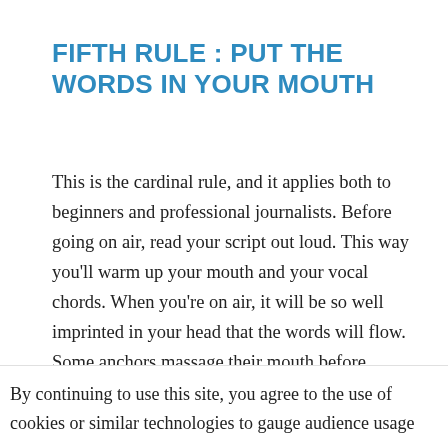FIFTH RULE : PUT THE WORDS IN YOUR MOUTH
This is the cardinal rule, and it applies both to beginners and professional journalists. Before going on air, read your script out loud. This way you'll warm up your mouth and your vocal chords. When you're on air, it will be so well imprinted in your head that the words will flow. Some anchors massage their mouth before getting inside the studio and drink some water to avoid having dust in the throat. Radio is like sports : do some
By continuing to use this site, you agree to the use of cookies or similar technologies to gauge audience usage